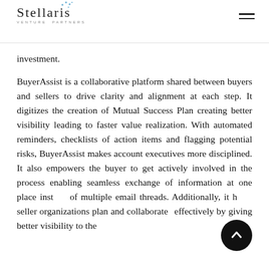Stellaris Venture Partners
investment.
BuyerAssist is a collaborative platform shared between buyers and sellers to drive clarity and alignment at each step. It digitizes the creation of Mutual Success Plan creating better visibility leading to faster value realization. With automated reminders, checklists of action items and flagging potential risks, BuyerAssist makes account executives more disciplined. It also empowers the buyer to get actively involved in the process enabling seamless exchange of information at one place instead of multiple email threads. Additionally, it helps seller organizations plan and collaborate effectively by giving better visibility to the